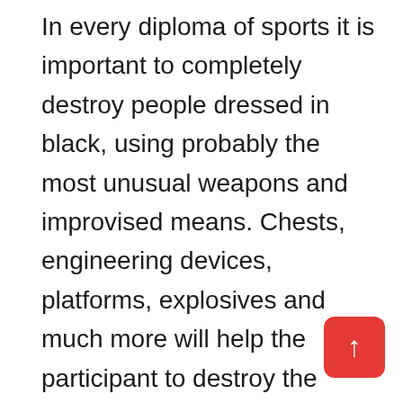In every diploma of sports it is important to completely destroy people dressed in black, using probably the most unusual weapons and improvised means. Chests, engineering devices, platforms, explosives and much more will help the participant to destroy the enemies. To effectively complete the run, both of you must hit the enemy with a bullet or make one of several objects fall on him and crush him. Sports may be very simple mechanics and management, which are completed with one finger. When you select the final finger on the view, you will notice a line indicating the trajectory of the projectile. It is important to set the target and put your finger out of view, sending a bullet to the enemy. Sometimes you may not have eye contact with the target, and then it is necessary to hope for a reco the wall, after which the bullet will completely hit opponent. The money you will earn on the device may